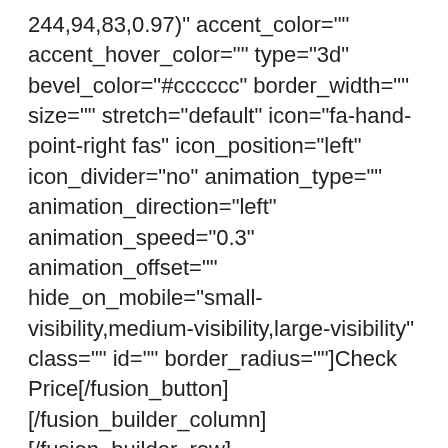244,94,83,0.97)" accent_color="" accent_hover_color="" type="3d" bevel_color="#cccccc" border_width="" size="" stretch="default" icon="fa-hand-point-right fas" icon_position="left" icon_divider="no" animation_type="" animation_direction="left" animation_speed="0.3" animation_offset="" hide_on_mobile="small-visibility,medium-visibility,large-visibility" class="" id="" border_radius=""]Check Price[/fusion_button][/fusion_builder_column] [/fusion_builder_row] [/fusion_builder_container] [fusion_builder_container hundred_percent="no" hundred_percent_height="no" hundred_percent_height_scroll="no"